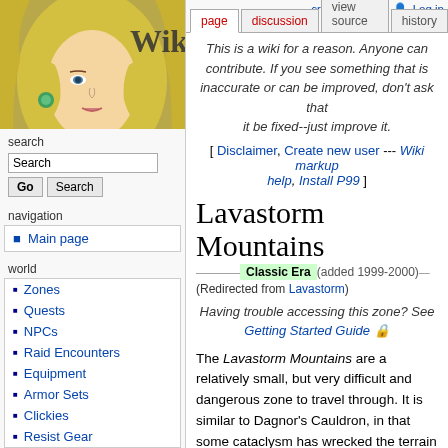[Figure (illustration): Project1999 wiki logo: stylized illustration of a blond elf woman with green earrings, text 'Wiki' and 'Project1999' overlaid]
search
navigation
Main page
world
Zones
Quests
NPCs
Raid Encounters
Equipment
Armor Sets
Clickies
Resist Gear
create account  Log in | page | discussion | view source | history
This is a wiki for a reason. Anyone can contribute. If you see something that is inaccurate or can be improved, don't ask that it be fixed--just improve it.
[ Disclaimer, Create new user --- Wiki markup help, Install P99 ]
Lavastorm Mountains
Classic Era (added 1999-2000) — (Redirected from Lavastorm)
Having trouble accessing this zone? See Getting Started Guide
The Lavastorm Mountains are a relatively small, but very difficult and dangerous zone to travel through. It is similar to Dagnor's Cauldron, in that some cataclysm has wrecked the terrain within it, here being obviously volcanic in nature. There are many lava pits throughout the zone, and shattered rocks stick up from the ground. A massive lava pit, known as Solusek's Eye, lies in the center along the northern edge of this shattered land.